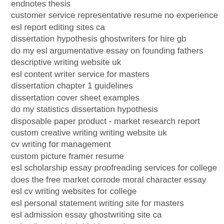endnotes thesis
customer service representative resume no experience
esl report editing sites ca
dissertation hypothesis ghostwriters for hire gb
do my esl argumentative essay on founding fathers
descriptive writing website uk
esl content writer service for masters
dissertation chapter 1 guidelines
dissertation cover sheet examples
do my statistics dissertation hypothesis
disposable paper product - market research report
custom creative writing writing website uk
cv writing for management
custom picture framer resume
esl scholarship essay proofreading services for college
does the free market corrode moral character essay
esl cv writing websites for college
esl personal statement writing site for masters
esl admission essay ghostwriting site ca
esl college critical thinking topic
esl business plan editor service ca
descriptive essays on childhood memories
drafting design resume templates